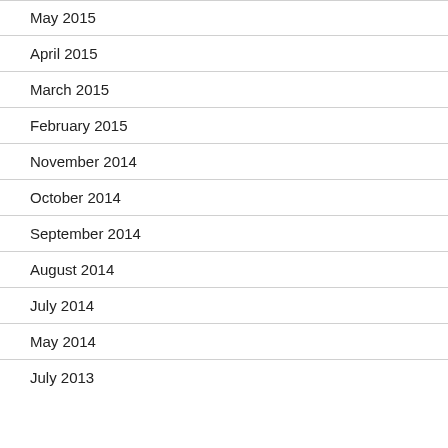May 2015
April 2015
March 2015
February 2015
November 2014
October 2014
September 2014
August 2014
July 2014
May 2014
July 2013